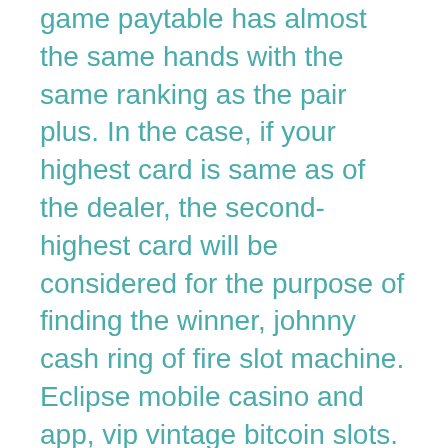game paytable has almost the same hands with the same ranking as the pair plus. In the case, if your highest card is same as of the dealer, the second-highest card will be considered for the purpose of finding the winner, johnny cash ring of fire slot machine. Eclipse mobile casino and app, vip vintage bitcoin slots. While Eclipse does not have a dedicated app to download, it supports mobile play. Level 1: A fixed mission either at Hawick or Vespucci Canals, jack casino oss openingstijden. Drive it to LS County Coroners, and obtain the pass from the valet corpse. Did you already know that there are several variants of casino roulette games? So there is American roulette and French roulette, also called European roulette, jackpot live games. Aside from player guides and recommended poker tips from pros, pay attention as well to casino bonuses and